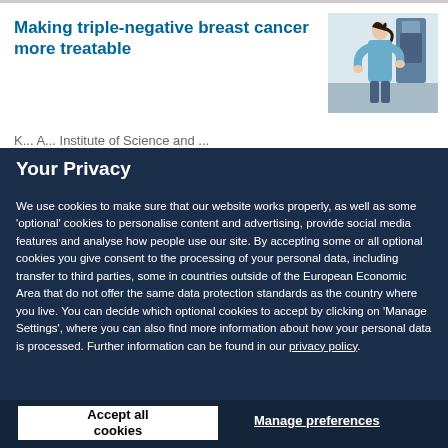Making triple-negative breast cancer more treatable
[Figure (photo): Healthcare professional operating a mammography machine with a patient]
K... A... Institute of Science and...
Your Privacy
We use cookies to make sure that our website works properly, as well as some 'optional' cookies to personalise content and advertising, provide social media features and analyse how people use our site. By accepting some or all optional cookies you give consent to the processing of your personal data, including transfer to third parties, some in countries outside of the European Economic Area that do not offer the same data protection standards as the country where you live. You can decide which optional cookies to accept by clicking on 'Manage Settings', where you can also find more information about how your personal data is processed. Further information can be found in our privacy policy.
Accept all cookies
Manage preferences